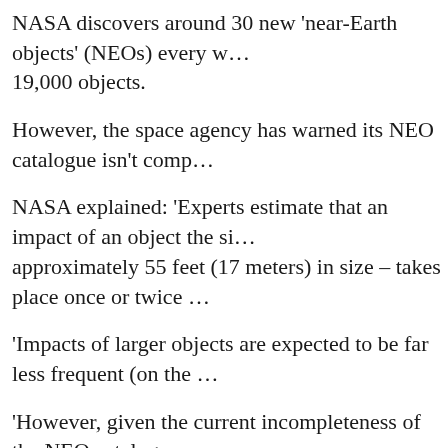NASA discovers around 30 new 'near-Earth objects' (NEOs) every week, bringing the total to more than 19,000 objects.
However, the space agency has warned its NEO catalogue isn't complete.
NASA explained: 'Experts estimate that an impact of an object the size of the Chelyabinsk meteor – approximately 55 feet (17 meters) in size – takes place once or twice a century.'
'Impacts of larger objects are expected to be far less frequent (on the scale of millennia).'
'However, given the current incompleteness of the NEO catalogue, an impact could theoretically occur at any time.'
To help prepare for such an impact, NASA recently launched its first planetary defence mission, 6.8 million miles from Earth.
The $325m (£240m) Double Asteroid Redirection Test (DART) mission will take just under a year to complete its almost seven million-mile journey into deep space.
The probe will smash into the small asteroid Dimorphos, which orbits a larger space rock, in September 2022.